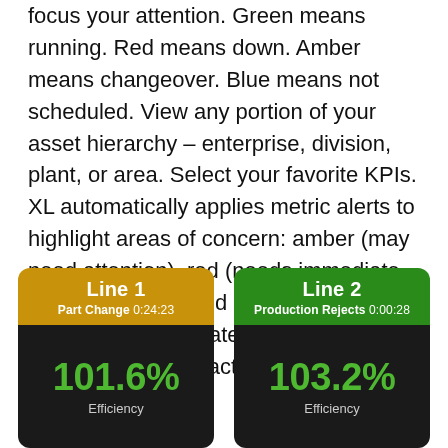focus your attention. Green means running. Red means down. Amber means changeover. Blue means not scheduled. View any portion of your asset hierarchy – enterprise, division, plant, or area. Select your favorite KPIs. XL automatically applies metric alerts to highlight areas of concern: amber (may need attention), red (needs immediate attention) or blocked red (deserves strong and immediate attention). Most importantly – take action!
[Figure (infographic): Two production line status cards side by side. Line 1 card with amber header showing 'Part Change 0:24:23' and '101.6% Efficiency' on dark background. Line 2 card with green header showing 'Production Rejects 0:00:28' and '103.2% Efficiency' on dark background.]